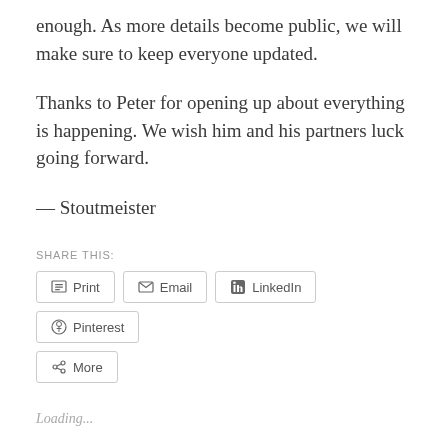enough. As more details become public, we will make sure to keep everyone updated.
Thanks to Peter for opening up about everything is happening. We wish him and his partners luck going forward.
— Stoutmeister
SHARE THIS:
Print  Email  LinkedIn  Pinterest  More
Loading...